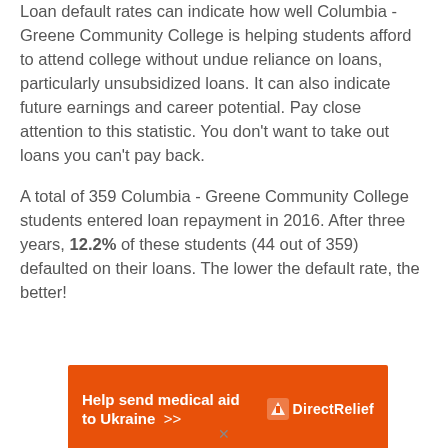Loan default rates can indicate how well Columbia - Greene Community College is helping students afford to attend college without undue reliance on loans, particularly unsubsidized loans. It can also indicate future earnings and career potential. Pay close attention to this statistic. You don't want to take out loans you can't pay back.
A total of 359 Columbia - Greene Community College students entered loan repayment in 2016. After three years, 12.2% of these students (44 out of 359) defaulted on their loans. The lower the default rate, the better!
[Figure (infographic): Orange advertisement banner for Direct Relief: 'Help send medical aid to Ukraine >>' with Direct Relief logo on the right side]